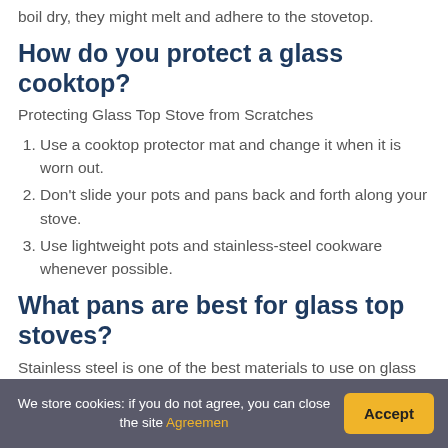boil dry, they might melt and adhere to the stovetop.
How do you protect a glass cooktop?
Protecting Glass Top Stove from Scratches
Use a cooktop protector mat and change it when it is worn out.
Don't slide your pots and pans back and forth along your stove.
Use lightweight pots and stainless-steel cookware whenever possible.
What pans are best for glass top stoves?
Stainless steel is one of the best materials to use on glass top stoves because it's durable, nonreactive, and smooth. Plus, it's conveniently dishwasher safe. Steel
We store cookies: if you do not agree, you can close the site Agreemen